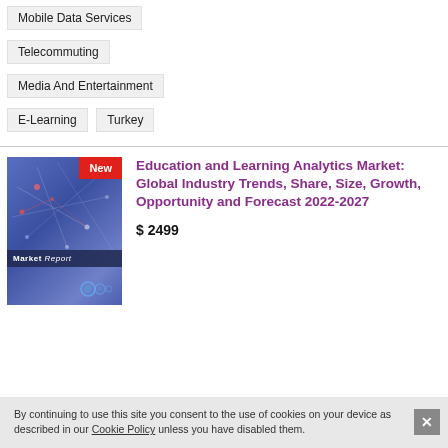Mobile Data Services
Telecommuting
Media And Entertainment
E-Learning
Turkey
Education and Learning Analytics Market: Global Industry Trends, Share, Size, Growth, Opportunity and Forecast 2022-2027
$ 2499
[Figure (illustration): Market Report book cover with blue/purple gradient background and 'New' red badge in top right corner]
By continuing to use this site you consent to the use of cookies on your device as described in our Cookie Policy unless you have disabled them.